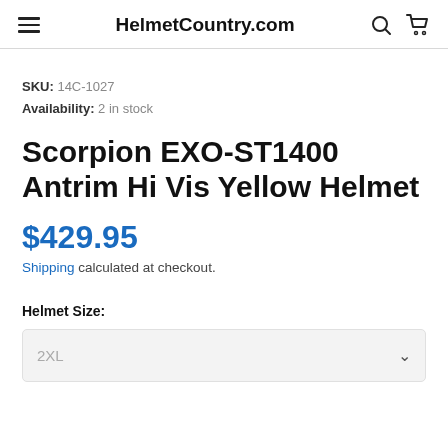HelmetCountry.com
SKU: 14C-1027
Availability: 2 in stock
Scorpion EXO-ST1400 Antrim Hi Vis Yellow Helmet
$429.95
Shipping calculated at checkout.
Helmet Size:
2XL